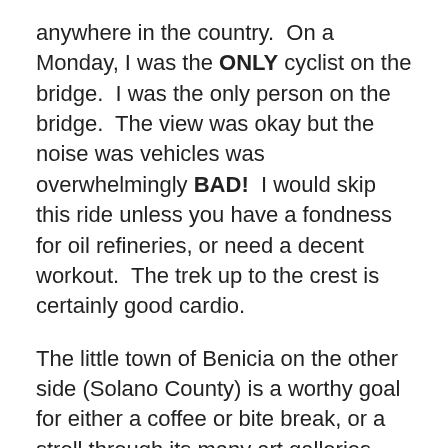anywhere in the country.  On a Monday, I was the ONLY cyclist on the bridge.  I was the only person on the bridge.  The view was okay but the noise was vehicles was overwhelmingly BAD!  I would skip this ride unless you have a fondness for oil refineries, or need a decent workout.  The trek up to the crest is certainly good cardio.
The little town of Benicia on the other side (Solano County) is a worthy goal for either a coffee or bite break, or a stroll through its many art galleries.  BTW, I have never seen any art in Benicia that I would consider buying.  We are so fortunate to live in such a beautiful and picturesque part of the Bay. Answer:  None other than the 18th President of the United States, Ulysses S. Grant.  And though his Presidency has uniformly received poor marks, it has significantly improved because of his enforcement of African-American voting and citizenship